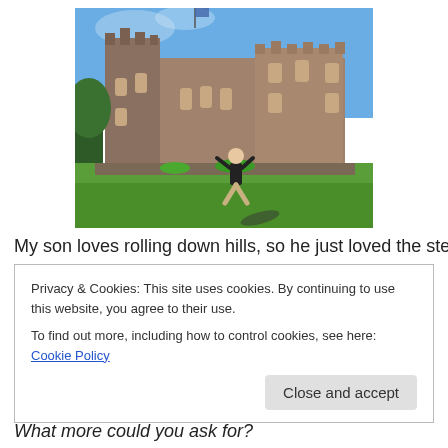[Figure (photo): A child jumping on a green lawn in front of a large stone Scottish castle under a blue sky with some trees visible on the left.]
My son loves rolling down hills, so he just loved the steep
Privacy & Cookies: This site uses cookies. By continuing to use this website, you agree to their use.
To find out more, including how to control cookies, see here: Cookie Policy
Close and accept
What more could you ask for?